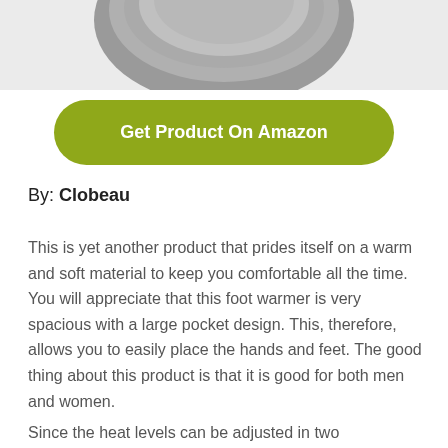[Figure (photo): Partial product image of a gray knitted foot warmer/slipper, showing the top portion cropped at the top of the page]
Get Product On Amazon
By: Clobeau
This is yet another product that prides itself on a warm and soft material to keep you comfortable all the time. You will appreciate that this foot warmer is very spacious with a large pocket design. This, therefore, allows you to easily place the hands and feet. The good thing about this product is that it is good for both men and women.
Since the heat levels can be adjusted in two